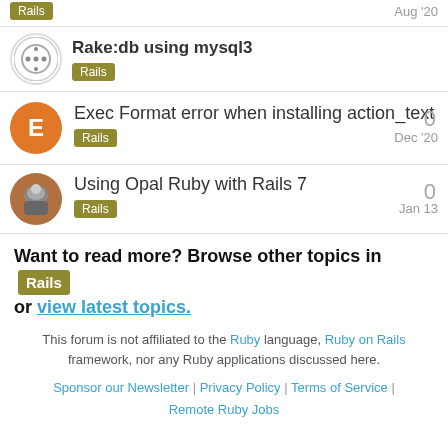Rails | Aug '20
Rake:db using mysql3 | Rails
Exec Format error when installing action_text | Rails | Dec '20 | 0 replies
Using Opal Ruby with Rails 7 | Rails | Jan 13 | 0 replies
Want to read more? Browse other topics in Rails or view latest topics.
This forum is not affiliated to the Ruby language, Ruby on Rails framework, nor any Ruby applications discussed here.
Sponsor our Newsletter | Privacy Policy | Terms of Service | Remote Ruby Jobs